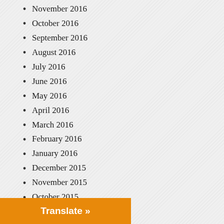November 2016
October 2016
September 2016
August 2016
July 2016
June 2016
May 2016
April 2016
March 2016
February 2016
January 2016
December 2015
November 2015
October 2015
September 2015
August 2015
July 2015
June 2015
Translate »